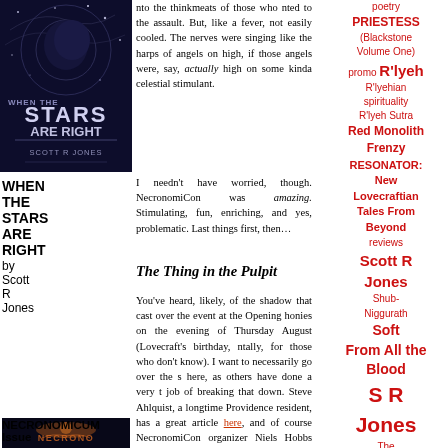[Figure (illustration): Book cover for 'When the Stars Are Right' by Scott R Jones - dark blue/purple with stars and stylized text]
WHEN THE STARS ARE RIGHT by Scott R Jones
nto the thinkmeats of those who nted to the assault. But, like a fever, not easily cooled. The nerves were singing like the harps of angels on high, if those angels were, say, actually high on some kinda celestial stimulant.
I needn't have worried, though. NecronomiCon was amazing. Stimulating, fun, enriching, and yes, problematic. Last things first, then…
The Thing in the Pulpit
You've heard, likely, of the shadow that cast over the event at the Opening honies on the evening of Thursday August (Lovecraft's birthday, ntally, for those who don't know). I want to necessarily go over the s here, as others have done a very t job of breaking that down. Steve Ahlquist, a longtime Providence resident, has a great article here, and of course NecronomiCon organizer Niels Hobbs had
[Figure (illustration): Book cover for Necronomicum - dark blue with stylized creature/squid art and block letter title]
NECRONOMICUM Issue
poetry PRIESTESS (Blackstone Volume One) promo R'lyeh R'lyehian spirituality R'lyeh Sutra Red Monolith Frenzy RESONATOR: New Lovecraftian Tales From Beyond reviews Scott R Jones Shub-Niggurath Soft From All the Blood S R Jones The Conqueror Womb The Conqueror Womb: Lusty Tale : Go to Top Niggurath weird